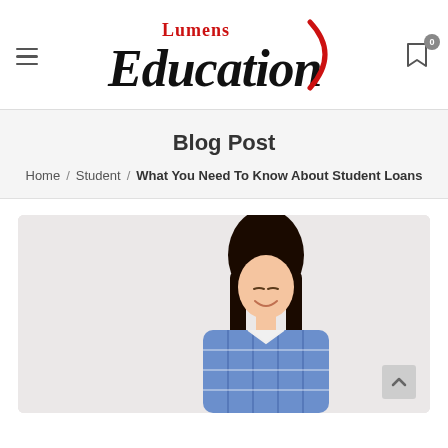Lumens Education — navigation header with hamburger menu and cart icon (0 items)
Blog Post
Home / Student / What You Need To Know About Student Loans
[Figure (photo): Young Asian woman with long dark hair, wearing a blue and white checkered shirt, smiling and looking down, against a light grey background.]